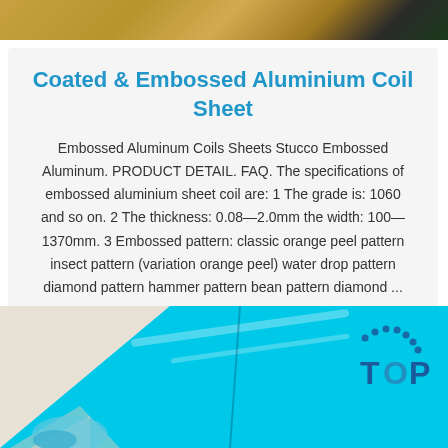[Figure (photo): Top partial photo of aluminium coil sheets with golden/metallic and dark tones]
Coated & Embossed Aluminium Coil Sheet
Embossed Aluminum Coils Sheets Stucco Embossed Aluminum. PRODUCT DETAIL. FAQ. The specifications of embossed aluminium sheet coil are: 1 The grade is: 1060 and so on. 2 The thickness: 0.08—2.0mm the width: 100—1370mm. 3 Embossed pattern: classic orange peel pattern insect pattern (variation orange peel) water drop pattern diamond pattern hammer pattern bean pattern diamond ...
Get Price
[Figure (photo): Bottom photo of blue coated aluminium sheet with hexagonal pattern on left and TOP logo watermark on right]